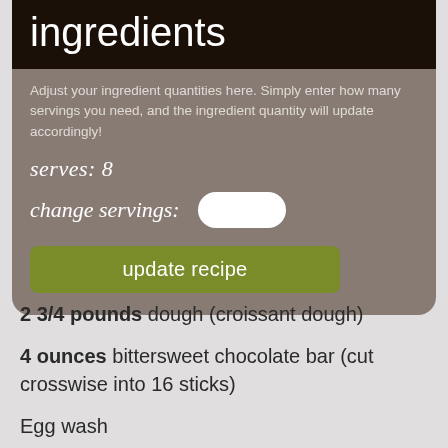ingredients
Adjust your ingredient quantities here. Simply enter how many servings you need, and the ingredient quantity will update accordingly!
serves: 8
change servings:
update recipe
2 3/4 pounds dough (croissant dough)
4 ounces bittersweet chocolate bar (cut crosswise into 16 sticks)
Egg wash